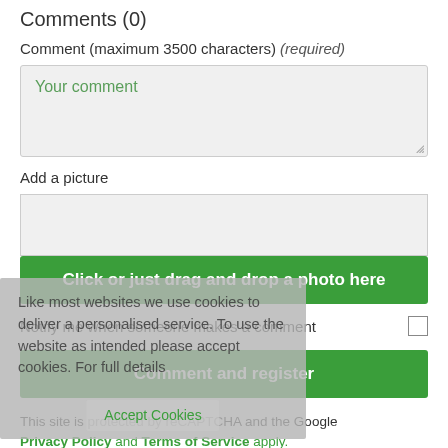Comments (0)
Comment (maximum 3500 characters) (required)
[Figure (screenshot): Text area input box with placeholder text 'Your comment' in green, grey background, with resize handle at bottom right]
Add a picture
[Figure (screenshot): Grey drop zone area for image upload]
[Figure (screenshot): Green button: 'Click or just drag and drop a photo here']
[Figure (screenshot): Cookie consent overlay banner with text: 'Like most websites we use cookies to deliver a personalised service. To use the website as intended please accept cookies. For full details']
Notify me when someone makes a comment
[Figure (screenshot): Green button: 'Comment and register']
This site is protected by reCAPTCHA and the Google
Privacy Policy and Terms of Service apply.